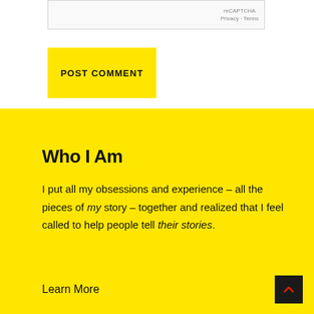[Figure (other): reCAPTCHA widget box with Privacy and Terms links]
POST COMMENT
Who I Am
I put all my obsessions and experience – all the pieces of my story – together and realized that I feel called to help people tell their stories.
Learn More